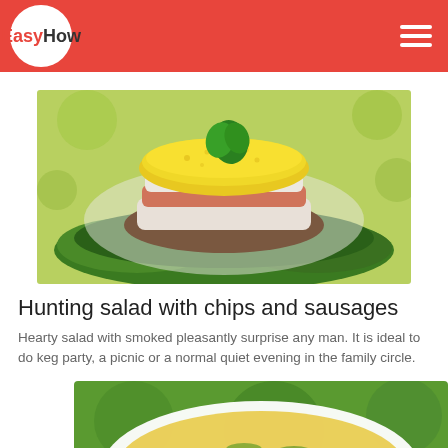EasyHow
[Figure (photo): A layered hunting salad with grated yellow egg yolk on top, garnished with green parsley, served on a plate surrounded by fresh herbs.]
Hunting salad with chips and sausages
Hearty salad with smoked pleasantly surprise any man. It is ideal to do keg party, a picnic or a normal quiet evening in the family circle.
[Figure (photo): A white bowl of soup with yellow broth and green herbs, on a green background.]